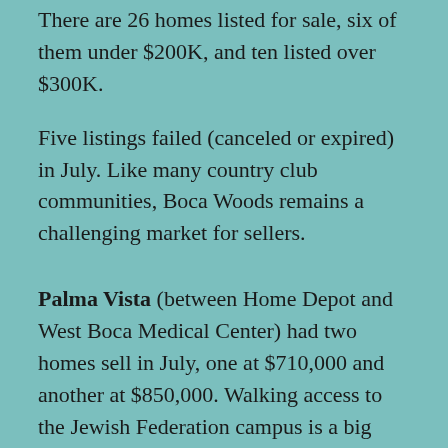There are 26 homes listed for sale, six of them under $200K, and ten listed over $300K.
Five listings failed (canceled or expired) in July. Like many country club communities, Boca Woods remains a challenging market for sellers.
Palma Vista (between Home Depot and West Boca Medical Center) had two homes sell in July, one at $710,000 and another at $850,000. Walking access to the Jewish Federation campus is a big attraction for that neighborhood. There are no current listings in Palma Vista.
Avalon (behind Lowe's) had no transactions in July. There is one home listed at $565K.